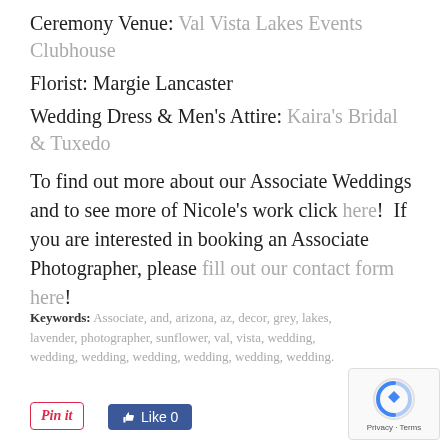Ceremony Venue: Val Vista Lakes Events Clubhouse
Florist: Margie Lancaster
Wedding Dress & Men's Attire: Kaira's Bridal & Tuxedo
To find out more about our Associate Weddings and to see more of Nicole's work click here!  If you are interested in booking an Associate Photographer, please fill out our contact form here!
Keywords: Associate, and, arizona, az, decor, grey, lakes, lavender, photographer, sunflower, val, vista, wedding, wedding, wedding, wedding, wedding, wedding, wedding.